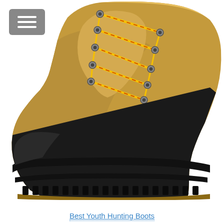[Figure (photo): Close-up photograph of a Sorel brand youth winter/hunting boot. The boot has a tan/wheat-colored nubuck leather upper with yellow and orange laces threaded through metal eyelets. The lower portion features a black rubber waterproof shell. The Sorel logo with a bear emblem is visible on the side. The sole is a deep-treaded black and tan rubber outsole.]
Best Youth Hunting Boots